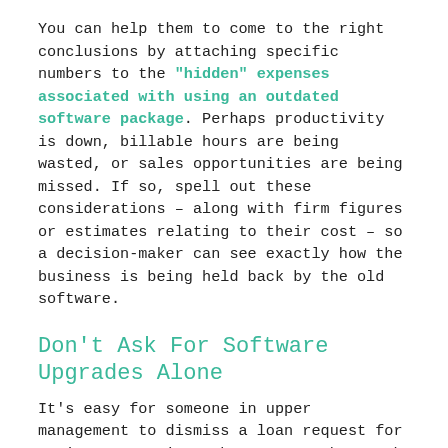You can help them to come to the right conclusions by attaching specific numbers to the "hidden" expenses associated with using an outdated software package. Perhaps productivity is down, billable hours are being wasted, or sales opportunities are being missed. If so, spell out these considerations – along with firm figures or estimates relating to their cost – so a decision-maker can see exactly how the business is being held back by the old software.
Don't Ask For Software Upgrades Alone
It's easy for someone in upper management to dismiss a loan request for an investment into the company, but much harder for them to ignore the issue if it comes from several individuals (or even entire governments). If others on your team or in your company are affected by